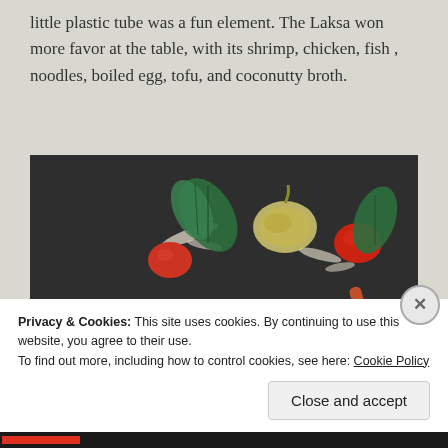little plastic tube was a fun element. The Laksa won more favor at the table, with its shrimp, chicken, fish , noodles, boiled egg, tofu, and coconutty broth.
[Figure (photo): Overhead photo of a glass bowl containing pink/cream colored food pieces garnished with green basil leaves, surrounded on a dark slate surface with cherry tomatoes, garlic clove, green leaves, and a reddish-orange stick garnish, with grated coconut scattered around.]
Privacy & Cookies: This site uses cookies. By continuing to use this website, you agree to their use.
To find out more, including how to control cookies, see here: Cookie Policy
Close and accept